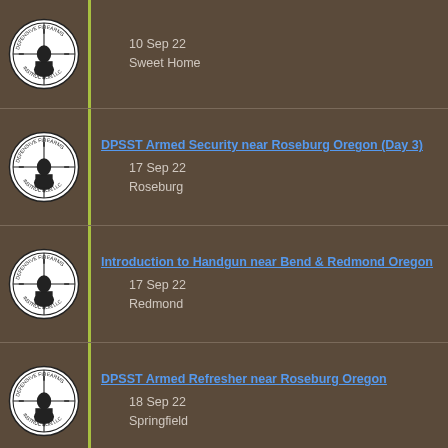10 Sep 22 | Sweet Home
DPSST Armed Security near Roseburg Oregon (Day 3) | 17 Sep 22 | Roseburg
Introduction to Handgun near Bend & Redmond Oregon | 17 Sep 22 | Redmond
DPSST Armed Refresher near Roseburg Oregon | 18 Sep 22 | Springfield